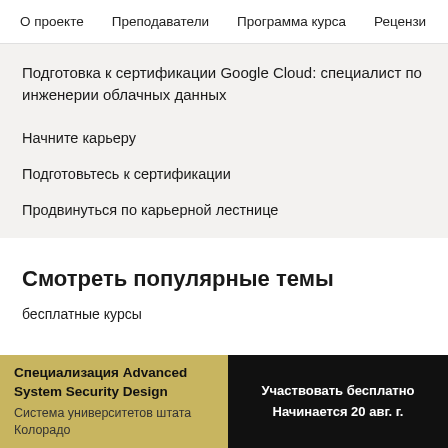О проекте   Преподаватели   Программа курса   Рецензи
Подготовка к сертификации Google Cloud: специалист по инженерии облачных данных
Начните карьеру
Подготовьтесь к сертификации
Продвинуться по карьерной лестнице
Смотреть популярные темы
бесплатные курсы
Специализация Advanced System Security Design
Система университетов штата Колорадо
Участвовать бесплатно
Начинается 20 авг. г.